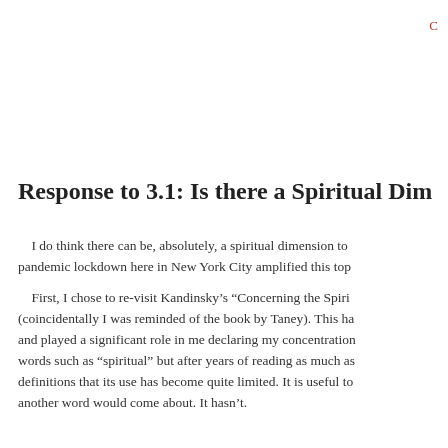C
Response to 3.1: Is there a Spiritual Dim
I do think there can be, absolutely, a spiritual dimension to pandemic lockdown here in New York City amplified this top
First, I chose to re-visit Kandinsky’s “Concerning the Spiri (coincidentally I was reminded of the book by Taney). This ha and played a significant role in me declaring my concentration words such as “spiritual” but after years of reading as much as definitions that its use has become quite limited. It is useful to another word would come about. It hasn’t.